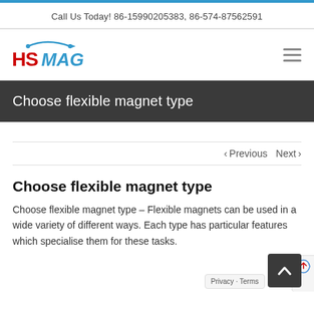Call Us Today! 86-15990205383, 86-574-87562591
[Figure (logo): HSMAG logo with red HS and blue MAG text and arc graphic]
Choose flexible magnet type
< Previous   Next >
Choose flexible magnet type
Choose flexible magnet type – Flexible magnets can be used in a wide variety of different ways. Each type has particular features which specialise them for these tasks.